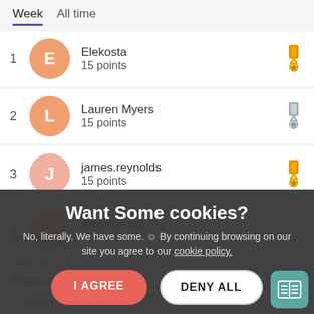Week | All time
1 - Elekosta - 15 points - gold medal
2 - Lauren Myers - 15 points - silver medal
3 - james.reynolds - 15 points - gold medal
4 - jkeansysaid - 13 points
5 - Mike Hinkle - 6 points
Want Some cookies?
No, literally. We have some. ☺ By continuing browsing on our site you agree to our cookie policy.
I AGREE
DENY ALL
Cookie settings
WHO IS LEADI…
Popular Tags
language   Email Notifications   On-Prem   #sysadminday